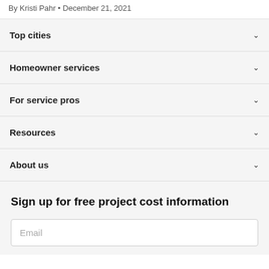By Kristi Pahr • December 21, 2021
Top cities
Homeowner services
For service pros
Resources
About us
Sign up for free project cost information
Email